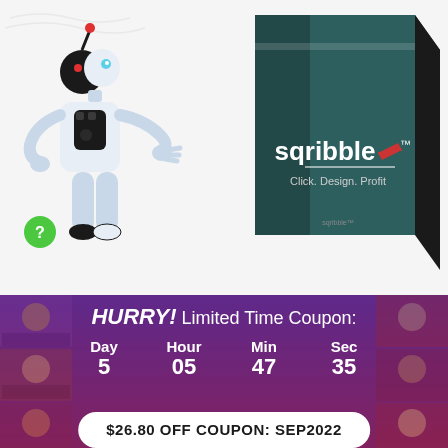[Figure (illustration): White robot character and teal software product box with Sqribble branding (Click. Design. Profit) on white/light gray background]
HURRY! Limited Time Coupon:
Day 5  Hour 05  Min 47  Sec 35
$26.80 OFF COUPON: SEP2022